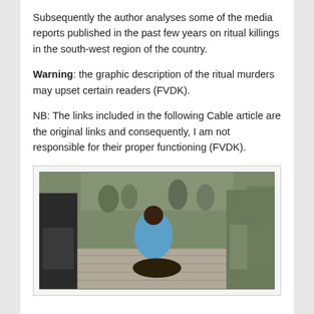Subsequently the author analyses some of the media reports published in the past few years on ritual killings in the south-west region of the country.
Warning: the graphic description of the ritual murders may upset certain readers (FVDK).
NB: The links included in the following Cable article are the original links and consequently, I am not responsible for their proper functioning (FVDK).
[Figure (photo): A scene showing uniformed officers (police or security personnel) standing around a person crouching on a cobblestone ground, apparently in an arrest or detainment situation outdoors with a crowd in the background.]